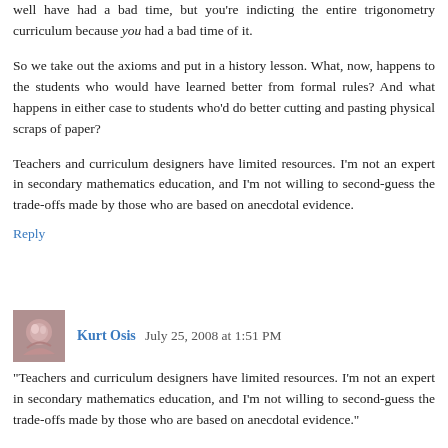well have had a bad time, but you're indicting the entire trigonometry curriculum because you had a bad time of it.
So we take out the axioms and put in a history lesson. What, now, happens to the students who would have learned better from formal rules? And what happens in either case to students who'd do better cutting and pasting physical scraps of paper?
Teachers and curriculum designers have limited resources. I'm not an expert in secondary mathematics education, and I'm not willing to second-guess the trade-offs made by those who are based on anecdotal evidence.
Reply
Kurt Osis  July 25, 2008 at 1:51 PM
"Teachers and curriculum designers have limited resources. I'm not an expert in secondary mathematics education, and I'm not willing to second-guess the trade-offs made by those who are based on anecdotal evidence."